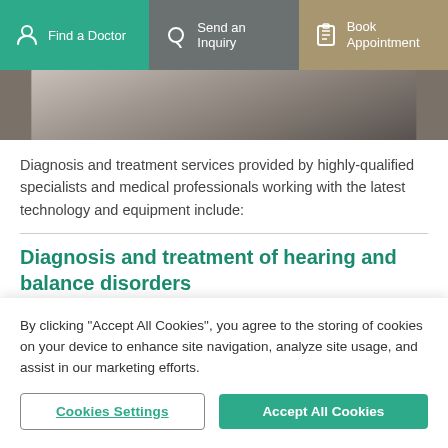Find a Doctor | Send an Inquiry | Book Appointment
[Figure (photo): Partial photo of a person in a plaid jacket, cropped medical/clinical context]
Diagnosis and treatment services provided by highly-qualified specialists and medical professionals working with the latest technology and equipment include:
Diagnosis and treatment of hearing and balance disorders
By clicking "Accept All Cookies", you agree to the storing of cookies on your device to enhance site navigation, analyze site usage, and assist in our marketing efforts.
Cookies Settings | Accept All Cookies